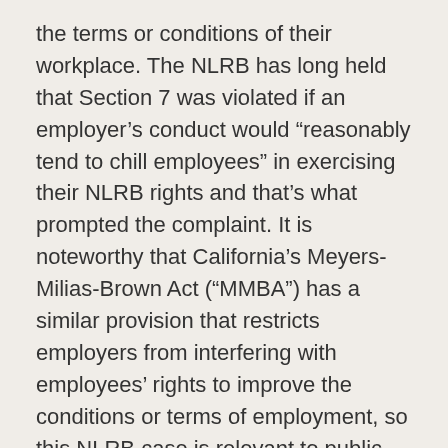the terms or conditions of their workplace. The NLRB has long held that Section 7 was violated if an employer's conduct would “reasonably tend to chill employees” in exercising their NLRB rights and that’s what prompted the complaint. It is noteworthy that California’s Meyers-Milias-Brown Act (“MMBA”) has a similar provision that restricts employers from interfering with employees’ rights to improve the conditions or terms of employment, so this NLRB case is relevant to public agency employers as well.
The NLRB’s investigation determined that the Facebook postings constituted “protected concerted activity” and that the employer’s internet usage policy was overly restrictive because it prevented